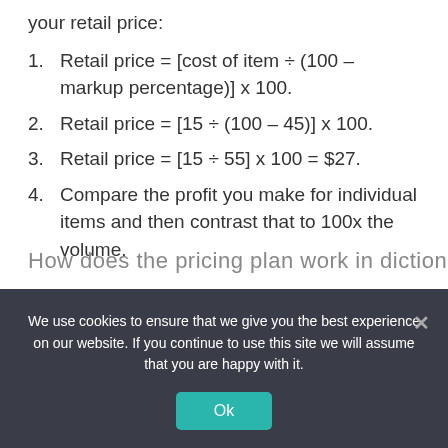your retail price:
Retail price = [cost of item ÷ (100 – markup percentage)] x 100.
Retail price = [15 ÷ (100 – 45)] x 100.
Retail price = [15 ÷ 55] x 100 = $27.
Compare the profit you make for individual items and then contrast that to 100x the volume.
How does the pricing plan work in dictionar?
We use cookies to ensure that we give you the best experience on our website. If you continue to use this site we will assume that you are happy with it.